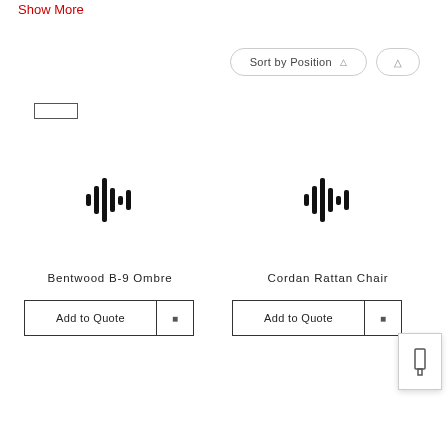Show More
[Figure (screenshot): Search input box and Sort by Position dropdown button with an icon button]
[Figure (other): Waveform/audio icon representing Bentwood B-9 Ombre product placeholder image]
Bentwood B-9 Ombre
[Figure (other): Add to Quote button with icon for Bentwood B-9 Ombre]
[Figure (other): Waveform/audio icon representing Cordan Rattan Chair product placeholder image]
Cordan Rattan Chair
[Figure (other): Add to Quote button with icon for Cordan Rattan Chair, with a small popup overlay box]